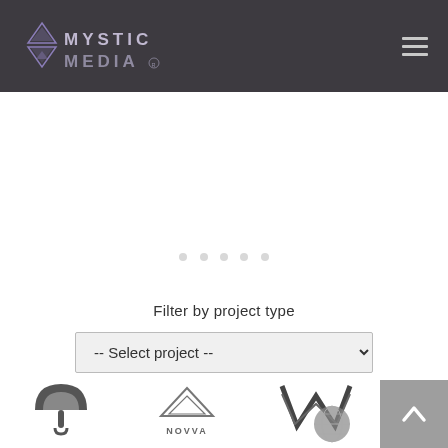Mystic Media — navigation header with logo and hamburger menu
Filter by project type
-- Select project --
[Figure (logo): Three client logos partially visible at the bottom: a dark circular umbrella/hat logo on the left, a triangular house/NOVVA logo in the center, and a globe/W logo on the right]
[Figure (logo): Back to top button with upward chevron arrow on grey background]